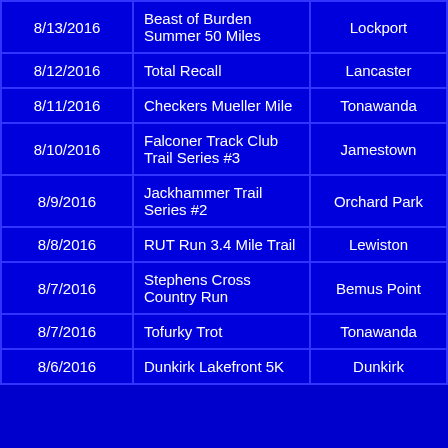| Date | Race Name | Location | Distance |  |
| --- | --- | --- | --- | --- |
| 8/13/2016 | Beast of Burden Summer 50 Miles | Lockport | 50 Miles |  |
| 8/12/2016 | Total Recall | Lancaster | 5K |  |
| 8/11/2016 | Checkers Mueller Mile | Tonawanda | 1 Mile | 2 |
| 8/10/2016 | Falconer Track Club Trail Series #3 | Jamestown | 3 Miles |  |
| 8/9/2016 | Jackhammer Trail Series #2 | Orchard Park | 3.2 Miles |  |
| 8/8/2016 | RUT Run 3.4 Mile Trail | Lewiston | 3.4 Miles | 1 |
| 8/7/2016 | Stephens Cross Country Run | Bemus Point | 6K |  |
| 8/7/2016 | Tofurky Trot | Tonawanda | 5K | 1 |
| 8/6/2016 | Dunkirk Lakefront 5K | Dunkirk | 5K |  |